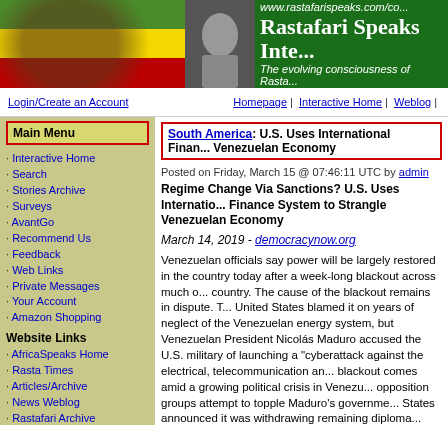[Figure (screenshot): Rastafari Speaks International website banner with red, yellow, green gradient on left, black and white portrait photo in center, green background with site title and URL on right]
www.rastafarispeaks.com/co... | Rastafari Speaks Inte... | The evolving consciousness of Rasta...
Login/Create an Account | Homepage | Interactive Home | Weblog |
Main Menu
Interactive Home
Search
Stories Archive
Surveys
AvantGo
Recommend Us
Feedback
Web Links
Private Messages
Your Account
Amazon Shopping
Website Links
AfricaSpeaks Home
Rasta Times
Articles/Archive
News Weblog
Rastafari Archive
Marcus Garvey
Haile Selassie
Message Board
Reasoning Forum
Black Africans
South America: U.S. Uses International Finance System to Strangle Venezuelan Economy
Posted on Friday, March 15 @ 07:46:11 UTC by admin
Regime Change Via Sanctions? U.S. Uses International Finance System to Strangle Venezuelan Economy
March 14, 2019 - democracynow.org
Venezuelan officials say power will be largely restored in the country today after a week-long blackout across much of the country. The cause of the blackout remains in dispute. The United States blamed it on years of neglect of the Venezuelan energy system, but Venezuelan President Nicolás Maduro accused the U.S. military of launching a "cyberattack against the electrical, telecommunication an... blackout comes amid a growing political crisis in Venezu... opposition groups attempt to topple Maduro's governme... States announced it was withdrawing remaining diploma... Caracas. We speak with Mark Weisbrot, co-director of th... Policy Research and president of Just Foreign Policy. Hi... Republic is headlined "The Reality Behind Trump's Coalit... Venezuela."
Topics: